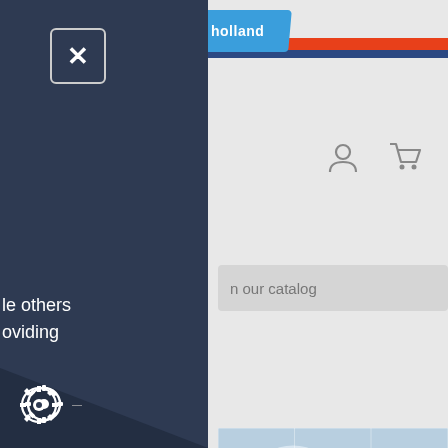[Figure (screenshot): Website screenshot of a Dutch/Holland tile webshop with a navigation drawer open on the left side. The left sidebar is dark navy blue with a close (X) button and partial menu text visible: 'le others', 'oviding', 'vacy &'. The main content area shows the website header with a red and blue stripe, a logo badge reading 'holland', user/cart icons top-right, a search bar reading 'n our catalog', and a main product image of a Delft blue ceramic tile mural depicting a sailing ship (galleon) with billowing sails on a cloudy sea. Watermark text is visible diagonally across the image. A cookie/settings gear icon is visible at the bottom left.]